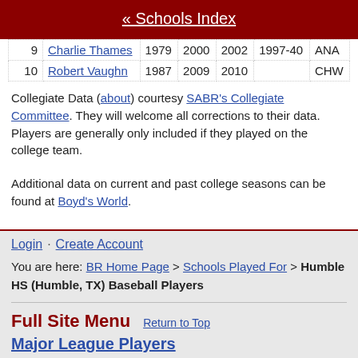« Schools Index
| 9 | Charlie Thames | 1979 | 2000 | 2002 | 1997-40 | ANA |
| 10 | Robert Vaughn | 1987 | 2009 | 2010 |  | CHW |
Collegiate Data (about) courtesy SABR's Collegiate Committee. They will welcome all corrections to their data.
Players are generally only included if they played on the college team.
Additional data on current and past college seasons can be found at Boyd's World.
Login · Create Account
You are here: BR Home Page > Schools Played For > Humble HS (Humble, TX) Baseball Players
Full Site Menu   Return to Top
Major League Players